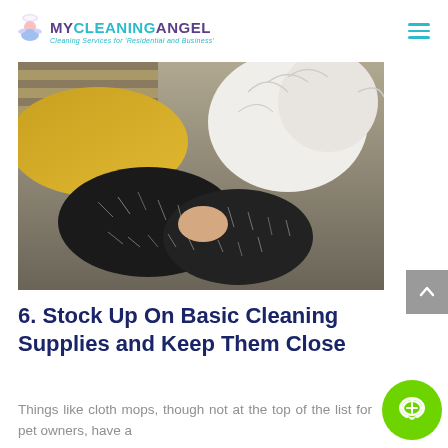MY CLEANING ANGEL – Cleaning Services for 'Residential and Business'
[Figure (photo): Photo of black socks covered in white pet hair resting on a grey fabric surface, with a white fluffy cat or dog in the background on a yellow pillow]
6. Stock Up On Basic Cleaning Supplies and Keep Them Close
Things like cloth mops, though not at the top of the list for pet owners, have a